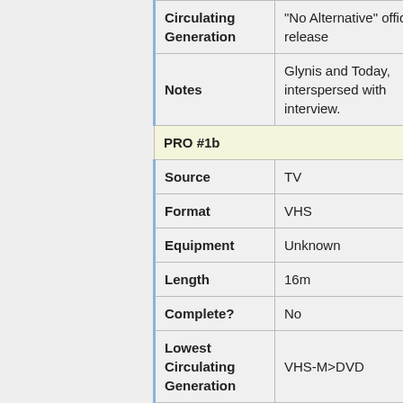| Field | Value |
| --- | --- |
| Circulating Generation | "No Alternative" official release |
| Notes | Glynis and Today, interspersed with interview. |
| PRO #1b |  |
| Source | TV |
| Format | VHS |
| Equipment | Unknown |
| Length | 16m |
| Complete? | No |
| Lowest Circulating Generation | VHS-M>DVD |
| Notes | Geek U.S.A. and complete interview. Sourced from a commercial bootleg tape. |
| PRO #1c |  |